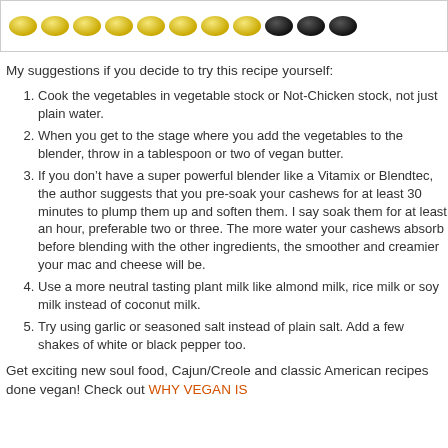[Figure (photo): A row of golden-yellow beans/cashews transitioning to black beans at the right end, on a white background with a light border.]
My suggestions if you decide to try this recipe yourself:
Cook the vegetables in vegetable stock or Not-Chicken stock, not just plain water.
When you get to the stage where you add the vegetables to the blender, throw in a tablespoon or two of vegan butter.
If you don’t have a super powerful blender like a Vitamix or Blendtec, the author suggests that you pre-soak your cashews for at least 30 minutes to plump them up and soften them. I say soak them for at least an hour, preferable two or three. The more water your cashews absorb before blending with the other ingredients, the smoother and creamier your mac and cheese will be.
Use a more neutral tasting plant milk like almond milk, rice milk or soy milk instead of coconut milk.
Try using garlic or seasoned salt instead of plain salt. Add a few shakes of white or black pepper too.
Get exciting new soul food, Cajun/Creole and classic American recipes done vegan! Check out WHY VEGAN IS